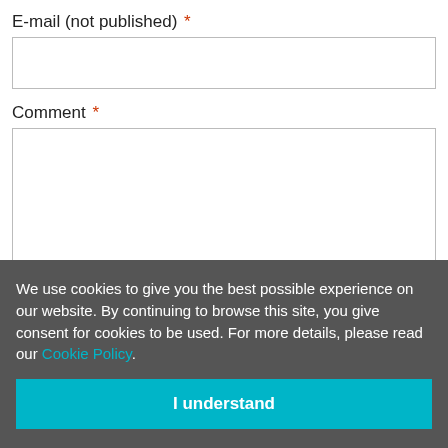E-mail (not published) *
Comment *
Submit comment
We use cookies to give you the best possible experience on our website. By continuing to browse this site, you give consent for cookies to be used. For more details, please read our Cookie Policy.
I understand